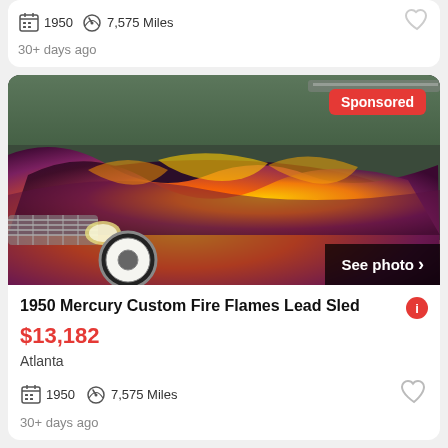1950  7,575 Miles
30+ days ago
[Figure (photo): Classic 1950 Mercury custom car with orange and purple flame paint job, convertible style, chrome details, white wall tires, photographed outdoors]
Sponsored
See photo ›
1950 Mercury Custom Fire Flames Lead Sled
$13,182
Atlanta
1950  7,575 Miles
30+ days ago